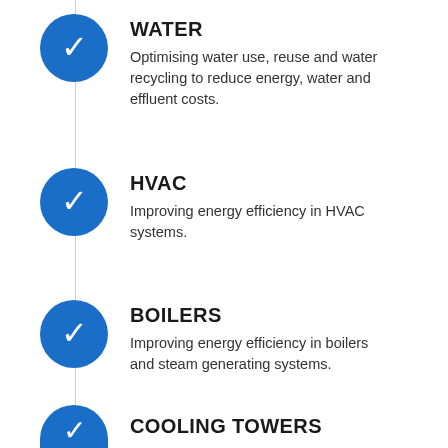WATER — Optimising water use, reuse and water recycling to reduce energy, water and effluent costs.
HVAC — Improving energy efficiency in HVAC systems.
BOILERS — Improving energy efficiency in boilers and steam generating systems.
COOLING TOWERS